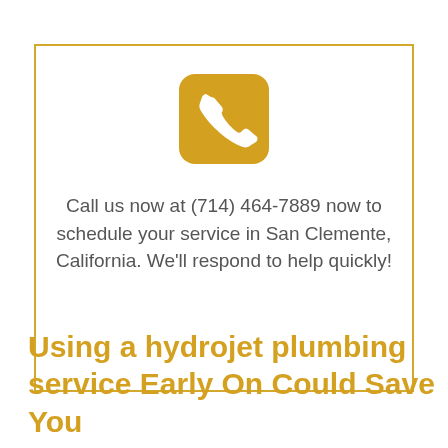[Figure (infographic): A golden/amber rounded square icon containing a white telephone handset symbol, centered at the top of a bordered call-to-action box.]
Call us now at (714) 464-7889 now to schedule your service in San Clemente, California. We'll respond to help quickly!
Using a hydrojet plumbing service Early On Could Save You